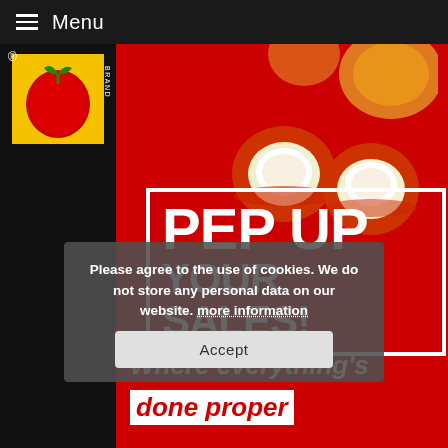Menu
[Figure (photo): Peppadew brand hero image on red background showing stuffed peppadew peppers and the text PEP UP YOUR SALES! in a white border box]
Please agree to the use of cookies. We do not store any personal data on our website. more information
Accept
[Figure (photo): Bottom secondary banner showing a green box product image on left and text 'Where everything's done proper' on red background]